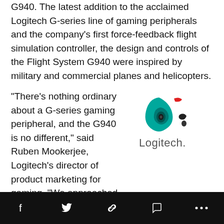G940. The latest addition to the acclaimed Logitech G-series line of gaming peripherals and the company's first force-feedback flight simulation controller, the design and controls of the Flight System G940 were inspired by military and commercial planes and helicopters.
“There’s nothing ordinary about a G-series gaming peripheral, and the G940 is no different,” said Ruben Mookerjee, Logitech’s director of product marketing for gaming. “We approached this project with the goal of redefining the flight sim experience. Whether you’re flying an A380, an F/A-18 Hornet or a Comanche helicopter, when you want to feel the wind on your wings, control engines
[Figure (logo): Logitech logo with teal/green swirl shape and red accent, with the word 'Logitech.' in dark gray below]
Social share bar with Facebook, Twitter, link, comment, and more icons